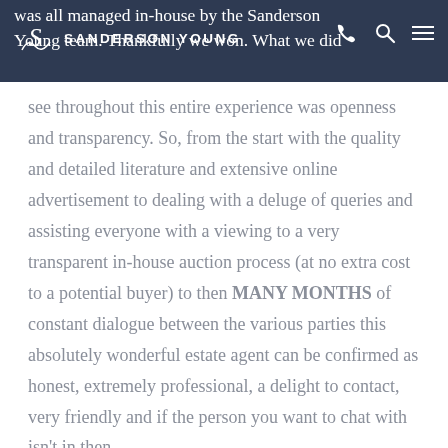was all managed in-house by the Sanderson Young team. Thankfully we won. What we did
see throughout this entire experience was openness and transparency. So, from the start with the quality and detailed literature and extensive online advertisement to dealing with a deluge of queries and assisting everyone with a viewing to a very transparent in-house auction process (at no extra cost to a potential buyer) to then MANY MONTHS of constant dialogue between the various parties this absolutely wonderful estate agent can be confirmed as honest, extremely professional, a delight to contact, very friendly and if the person you want to chat with isn't in then